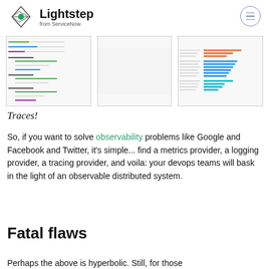Lightstep from ServiceNow
[Figure (screenshot): Three screenshots showing distributed tracing UI panels — left shows a trace list/waterfall view, middle is blank/empty, right shows a bar chart with colored horizontal bars]
Traces!
So, if you want to solve observability problems like Google and Facebook and Twitter, it's simple... find a metrics provider, a logging provider, a tracing provider, and voila: your devops teams will bask in the light of an observable distributed system.
Fatal flaws
Perhaps the above is hyperbolic. Still, for those